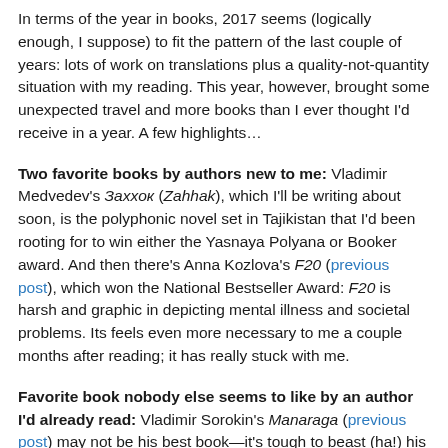In terms of the year in books, 2017 seems (logically enough, I suppose) to fit the pattern of the last couple of years: lots of work on translations plus a quality-not-quantity situation with my reading. This year, however, brought some unexpected travel and more books than I ever thought I'd receive in a year. A few highlights…
Two favorite books by authors new to me: Vladimir Medvedev's Заxxок (Zahhak), which I'll be writing about soon, is the polyphonic novel set in Tajikistan that I'd been rooting for to win either the Yasnaya Polyana or Booker award. And then there's Anna Kozlova's F20 (previous post), which won the National Bestseller Award: F20 is harsh and graphic in depicting mental illness and societal problems. Its feels even more necessary to me a couple months after reading; it has really stuck with me.
Favorite book nobody else seems to like by an author I'd already read: Vladimir Sorokin's Manaraga (previous post) may not be his best book—it's tough to beast (ha!) his Oprichnik—but that doesn't mean it's not a smart, entertaining book that I loved zipping through. I feel a special